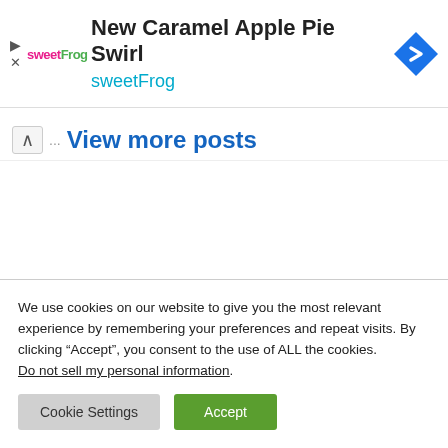[Figure (screenshot): Advertisement banner for sweetFrog featuring 'New Caramel Apple Pie Swirl' with sweetFrog logo and navigation icon]
View more posts
We use cookies on our website to give you the most relevant experience by remembering your preferences and repeat visits. By clicking “Accept”, you consent to the use of ALL the cookies. Do not sell my personal information.
Cookie Settings
Accept